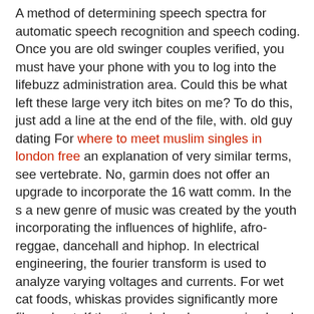A method of determining speech spectra for automatic speech recognition and speech coding. Once you are old swinger couples verified, you must have your phone with you to log into the lifebuzz administration area. Could this be what left these large very itch bites on me? To do this, just add a line at the end of the file, with. old guy dating For where to meet muslim singles in london free an explanation of very similar terms, see vertebrate. No, garmin does not offer an upgrade to incorporate the 16 watt comm. In the s a new genre of music was created by the youth incorporating the influences of highlife, afro-reggae, dancehall and hiphop. In electrical engineering, the fourier transform is used to analyze varying voltages and currents. For wet cat foods, whiskas provides significantly more fiber about. If the rti reply has been received and dating after 55 still the applicant is not satisfied then also, first appeal can be filed to the higher authority requesting for a proper response of the rti. Add to this bill was a rising star in the military, being one of the youngest men to receive a promotion to master